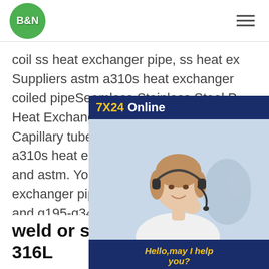B&N
coil ss heat exchanger pipe, ss heat ex... Suppliers astm a310s heat exchanger coiled pipeSeamless Stainless Steel P... Heat Exchanger Tube SS 304 / 304L / Capillary tube coil. US $1000 / Ton. 1 T... a310s heat exchanger stainless steel d... and astm. You can also choose from m... exchanger pipe, as well as from 10#-45... and q195-q345 ss heat exchanger pipe, and whether ss heat exchanger pipe is bending, cutting, or moulding.
[Figure (photo): Chat support widget showing a woman with a headset, labeled 7X24 Online with Hello, may I help you? and a Get Latest Price button]
weld or seamless SUS304 316L